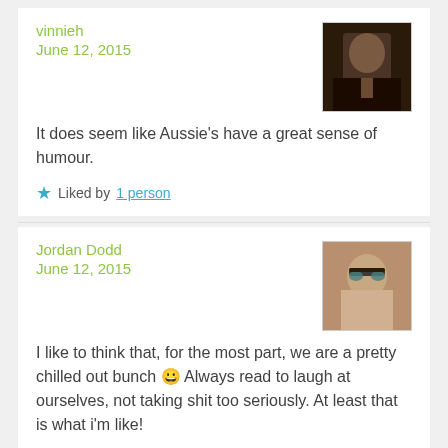vinnieh
June 12, 2015
[Figure (photo): Avatar photo of vinnieh, dark toned portrait]
It does seem like Aussie’s have a great sense of humour.
★ Liked by 1 person
Jordan Dodd
June 12, 2015
[Figure (photo): Avatar photo of Jordan Dodd wearing glasses]
I like to think that, for the most part, we are a pretty chilled out bunch 😃 Always read to laugh at ourselves, not taking shit too seriously. At least that is what i’m like!
★ Liked by 1 person